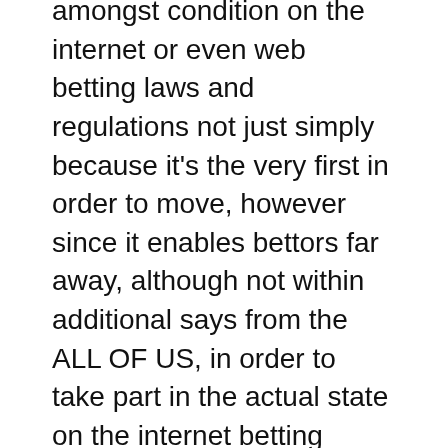amongst condition on the internet or even web betting laws and regulations not just simply because it's the very first in order to move, however since it enables bettors far away, although not within additional says from the ALL OF US, in order to take part in the actual state on the internet betting websites. Web betting providers within Nj should be certified Ocean Town on line casino providers, as well as just about all gear employed for doing Web video gaming should be positioned in casinos within Ocean Town or even from additional safe Ocean Town areas.
Exactly what will Brand new Jersey's regulation imply with regard to on the internet on line casino UNITED STATES